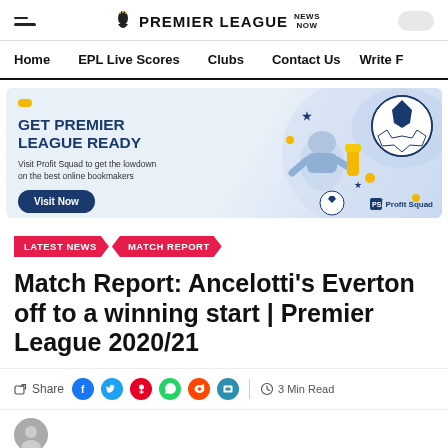PREMIER LEAGUE NEWS NOW
Home  EPL Live Scores  Clubs  Contact Us  Write F
[Figure (illustration): Profit Squad advertisement banner: GET PREMIER LEAGUE READY. Visit Profit Squad to get the lowdown on the best online bookmakers. Visit Now button. Robot figure with football graphic on blue/light background.]
LATEST NEWS
MATCH REPORT
Match Report: Ancelotti's Everton off to a winning start | Premier League 2020/21
Share  3 Min Read